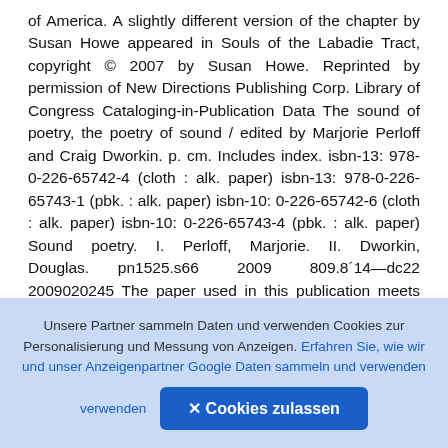of America. A slightly different version of the chapter by Susan Howe appeared in Souls of the Labadie Tract, copyright © 2007 by Susan Howe. Reprinted by permission of New Directions Publishing Corp. Library of Congress Cataloging-in-Publication Data The sound of poetry, the poetry of sound / edited by Marjorie Perloff and Craig Dworkin. p. cm. Includes index. isbn-13: 978-0-226-65742-4 (cloth : alk. paper) isbn-13: 978-0-226-65743-1 (pbk. : alk. paper) isbn-10: 0-226-65742-6 (cloth : alk. paper) isbn-10: 0-226-65743-4 (pbk. : alk. paper) Sound poetry. I. Perloff, Marjorie. II. Dworkin, Douglas. pn1525.s66 2009 809.8´14—dc22 2009020245 The paper used in this publication meets the minimum requirements of the American
[Figure (other): Dark rounded square button with a circle-arrow (upload/navigate) icon in white]
Unsere Partner sammeln Daten und verwenden Cookies zur Personalisierung und Messung von Anzeigen. Erfahren Sie, wie wir und unser Anzeigenpartner Google Daten sammeln und verwenden
✕ Cookies zulassen